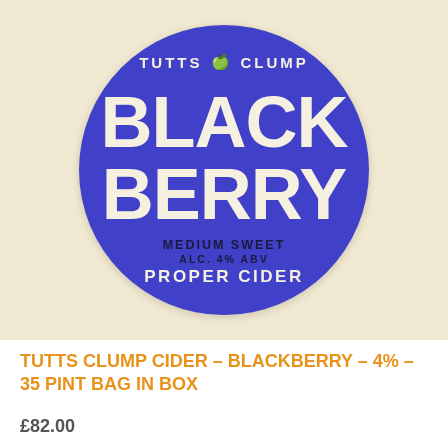[Figure (illustration): Tutts Clump Blackberry Cider circular product label. Blue circle on cream background showing 'TUTTS CLUMP' arched at top with apple icon, large bold text 'BLACK BERRY' in center, 'MEDIUM SWEET', 'ALC. 4% ABV', and 'PROPER CIDER' arched at bottom.]
TUTTS CLUMP CIDER – BLACKBERRY – 4% – 35 PINT BAG IN BOX
£82.00